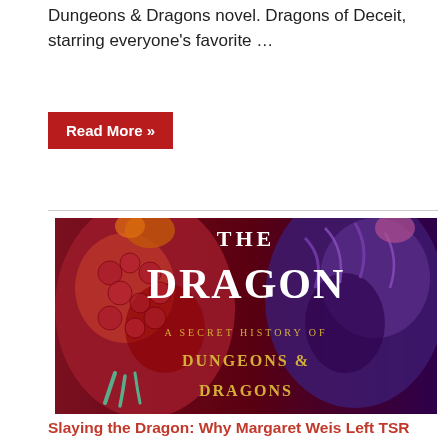Dungeons & Dragons novel. Dragons of Deceit, starring everyone's favorite …
Read More »
[Figure (photo): Book cover art for 'The Dragon: A Secret History of Dungeons & Dragons' showing a red and purple dragon in dramatic illustration style with gold and white title text.]
Slaying the Dragon: Why Margaret Weis Left TSR
July 21, 2022
Author Ben Riggs has been making waves with his book, Slaying the Dragon: A Secret History of Dungeons